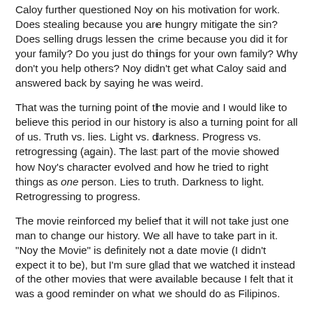Caloy further questioned Noy on his motivation for work. Does stealing because you are hungry mitigate the sin? Does selling drugs lessen the crime because you did it for your family? Do you just do things for your own family? Why don't you help others? Noy didn't get what Caloy said and answered back by saying he was weird.
That was the turning point of the movie and I would like to believe this period in our history is also a turning point for all of us. Truth vs. lies. Light vs. darkness. Progress vs. retrogressing (again). The last part of the movie showed how Noy's character evolved and how he tried to right things as one person. Lies to truth. Darkness to light. Retrogressing to progress.
The movie reinforced my belief that it will not take just one man to change our history. We all have to take part in it. "Noy the Movie" is definitely not a date movie (I didn't expect it to be), but I'm sure glad that we watched it instead of the other movies that were available because I felt that it was a good reminder on what we should do as Filipinos.
And here is the bottom...